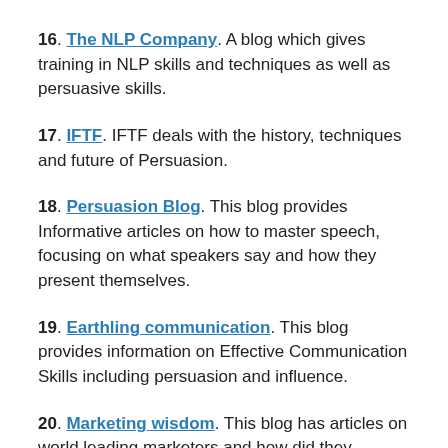16. The NLP Company. A blog which gives training in NLP skills and techniques as well as persuasive skills.
17. IFTF. IFTF deals with the history, techniques and future of Persuasion.
18. Persuasion Blog. This blog provides Informative articles on how to master speech, focusing on what speakers say and how they present themselves.
19. Earthling communication. This blog provides information on Effective Communication Skills including persuasion and influence.
20. Marketing wisdom. This blog has articles on world leading marketers and how did they persuade their clients.
21. Inside influence. This blog has many Articles about